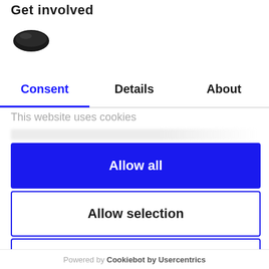Get involved
[Figure (logo): Cookiebot logo - dark oval shield/cookie shape]
Consent | Details | About
This website uses cookies
Allow all
Allow selection
Deny
Powered by Cookiebot by Usercentrics